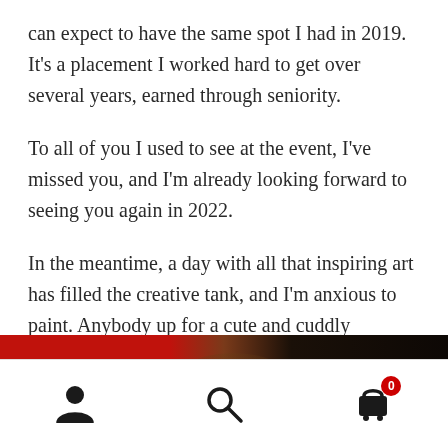can expect to have the same spot I had in 2019. It's a placement I worked hard to get over several years, earned through seniority.
To all of you I used to see at the event, I've missed you, and I'm already looking forward to seeing you again in 2022.
In the meantime, a day with all that inspiring art has filled the creative tank, and I'm anxious to paint. Anybody up for a cute and cuddly painting of a tarantula? ?
[Figure (photo): Partial view of a painting or artwork showing red and dark brown tones, top portion of an image cut off at the bottom of the page.]
Navigation bar with person/account icon, search icon, and shopping cart icon with badge showing 0